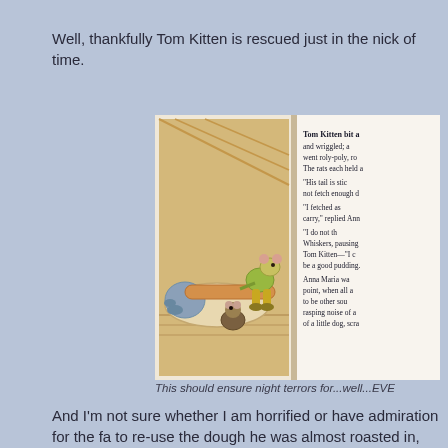Well, thankfully Tom Kitten is rescued just in the nick of time.
[Figure (illustration): A two-page spread from a children's book (Beatrix Potter's Tale of Samuel Whiskers). Left page shows an illustration of Tom Kitten wrapped in dough by two rats in an attic. Right page shows text from the story about Tom Kitten biting and wriggling, the rats holding him, dialogue about his tail and dough, and Anna Maria at a point when sounds are heard including a rasping noise and a little dog scratching.]
This should ensure night terrors for...well...EVE
And I'm not sure whether I am horrified or have admiration for the fa to re-use the dough he was almost roasted in, even though it has "s